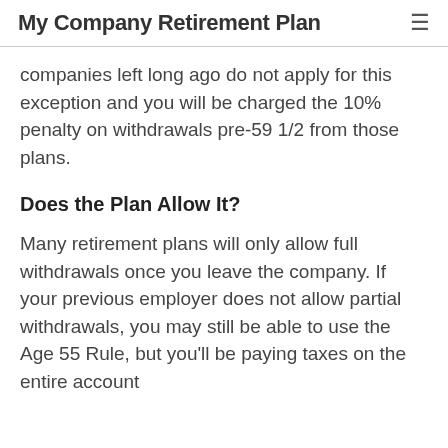My Company Retirement Plan
companies left long ago do not apply for this exception and you will be charged the 10% penalty on withdrawals pre-59 1/2 from those plans.
Does the Plan Allow It?
Many retirement plans will only allow full withdrawals once you leave the company. If your previous employer does not allow partial withdrawals, you may still be able to use the Age 55 Rule, but you'll be paying taxes on the entire account